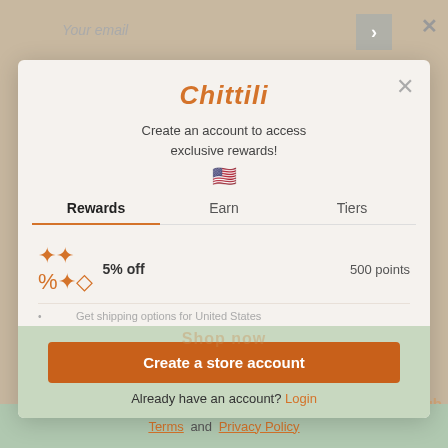Chittili
Create an account to access exclusive rewards!
[Figure (illustration): US flag emoji]
Rewards   Earn   Tiers
5% off   500 points
Get shipping options for United States
10% off
Create a store account
Already have an account? Login
Terms and Privacy Policy